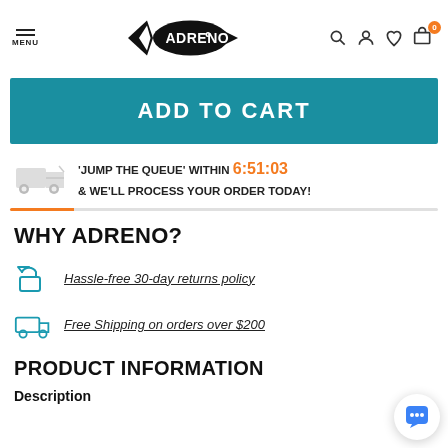MENU | ADRENO [logo] | search | account | wishlist | cart (0)
ADD TO CART
'JUMP THE QUEUE' WITHIN 6:51:03 & WE'LL PROCESS YOUR ORDER TODAY!
WHY ADRENO?
Hassle-free 30-day returns policy
Free Shipping on orders over $200
PRODUCT INFORMATION
Description